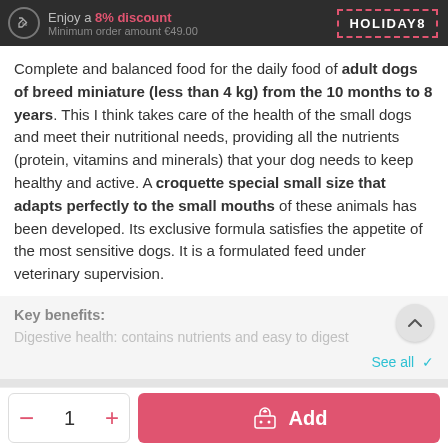Enjoy a 8% discount – Minimum order amount €49.00 | HOLIDAY8
Complete and balanced food for the daily food of adult dogs of breed miniature (less than 4 kg) from the 10 months to 8 years. This I think takes care of the health of the small dogs and meet their nutritional needs, providing all the nutrients (protein, vitamins and minerals) that your dog needs to keep healthy and active. A croquette special small size that adapts perfectly to the small mouths of these animals has been developed. Its exclusive formula satisfies the appetite of the most sensitive dogs. It is a formulated feed under veterinary supervision.
Key benefits:
Digestive health: contains nutrients and easy to digest
See all